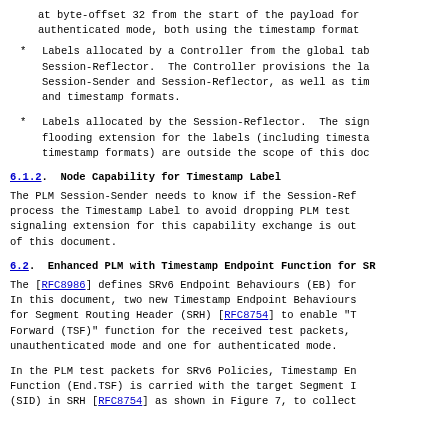at byte-offset 32 from the start of the payload for authenticated mode, both using the timestamp format
Labels allocated by a Controller from the global tab Session-Reflector. The Controller provisions the la Session-Sender and Session-Reflector, as well as tim and timestamp formats.
Labels allocated by the Session-Reflector. The sign flooding extension for the labels (including timesta timestamp formats) are outside the scope of this doc
6.1.2. Node Capability for Timestamp Label
The PLM Session-Sender needs to know if the Session-Ref process the Timestamp Label to avoid dropping PLM test signaling extension for this capability exchange is out of this document.
6.2. Enhanced PLM with Timestamp Endpoint Function for SR
The [RFC8986] defines SRv6 Endpoint Behaviours (EB) for In this document, two new Timestamp Endpoint Behaviours for Segment Routing Header (SRH) [RFC8754] to enable "T Forward (TSF)" function for the received test packets, unauthenticated mode and one for authenticated mode.
In the PLM test packets for SRv6 Policies, Timestamp En Function (End.TSF) is carried with the target Segment I (SID) in SRH [RFC8754] as shown in Figure 7, to collect